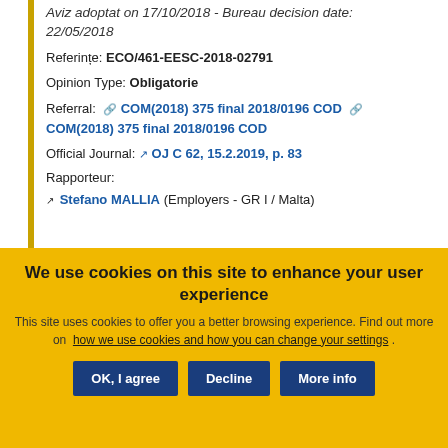Aviz adoptat on 17/10/2018 - Bureau decision date: 22/05/2018
Referințe: ECO/461-EESC-2018-02791
Opinion Type: Obligatorie
Referral: COM(2018) 375 final 2018/0196 COD COM(2018) 375 final 2018/0196 COD
Official Journal: OJ C 62, 15.2.2019, p. 83
Rapporteur:
Stefano MALLIA (Employers - GR I / Malta)
We use cookies on this site to enhance your user experience
This site uses cookies to offer you a better browsing experience. Find out more on how we use cookies and how you can change your settings.
OK, I agree  Decline  More info